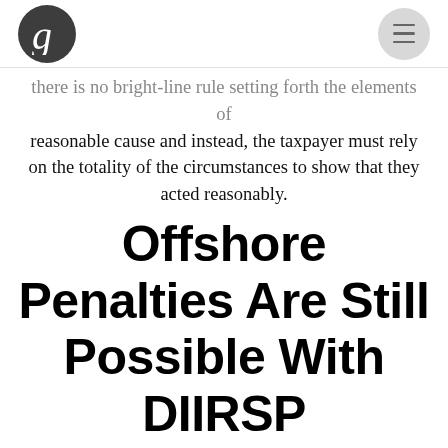g [logo] / menu
there is no bright-line rule setting forth the elements of reasonable cause and instead, the taxpayer must rely on the totality of the circumstances to show that they acted reasonably.
Offshore Penalties Are Still Possible With DIIRSP
When a person submits under the delinquency procedures, there is still a good chance that they will avoid penalties, but that is not always the case — especially with Form 3520 penalties. Since the procedures were modified back in